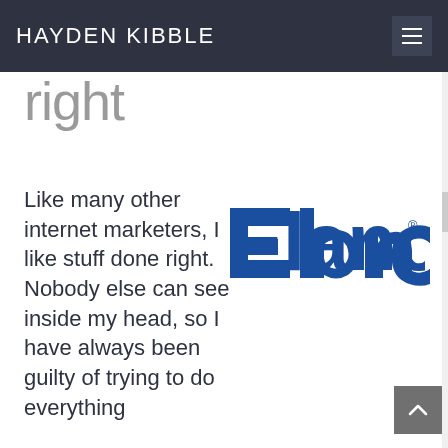HAYDEN KIBBLE
Hiring on Elance: how to get it right
Like many other internet marketers, I like stuff done right. Nobody else can see inside my head, so I have always been guilty of trying to do everything
[Figure (logo): Elance logo — blue text on white background with registered trademark symbol]